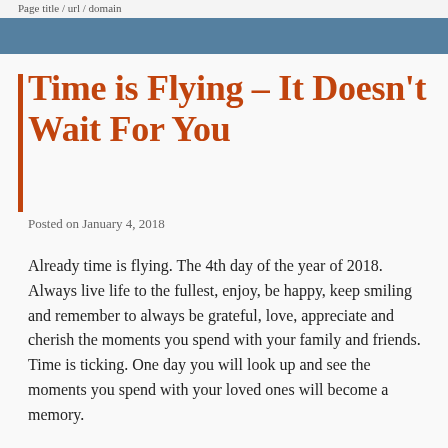Page title / url / domain
Time is Flying – It Doesn't Wait For You
Posted on January 4, 2018
Already time is flying. The 4th day of the year of 2018. Always live life to the fullest, enjoy, be happy, keep smiling and remember to always be grateful, love, appreciate and cherish the moments you spend with your family and friends. Time is ticking. One day you will look up and see the moments you spend with your loved ones will become a memory.
Always Say I love you,